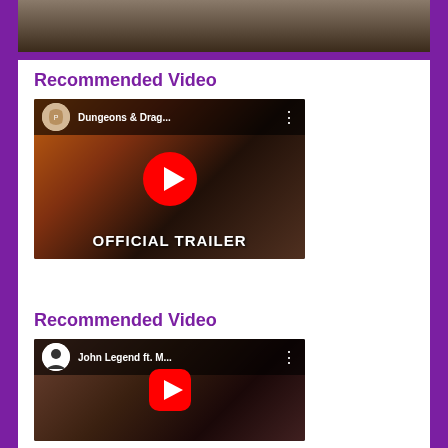[Figure (screenshot): Top cropped image, partially visible, dark scene]
Recommended Video
[Figure (screenshot): YouTube video thumbnail: Dungeons & Drag... - Official Trailer, Paramount Pictures channel]
Recommended Video
[Figure (screenshot): YouTube video thumbnail: John Legend ft. M... - music video]